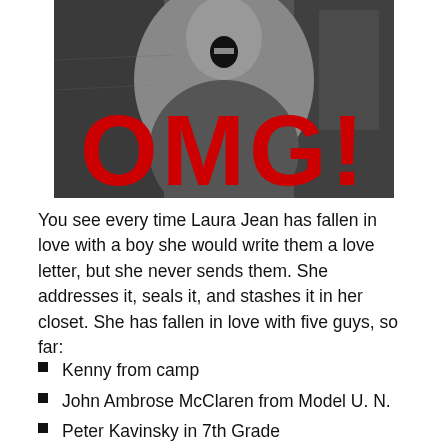[Figure (photo): Black and white photo of a person with mouth wide open, with large red text 'OMG!' overlaid on the image]
You see every time Laura Jean has fallen in love with a boy she would write them a love letter, but she never sends them. She addresses it, seals it, and stashes it in her closet. She has fallen in love with five guys, so far:
Kenny from camp
John Ambrose McClaren from Model U. N.
Peter Kavinsky in 7th Grade